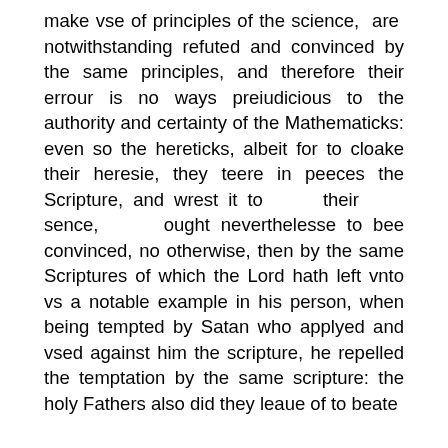make vse of principles of the science, are notwithstanding refuted and convinced by the same principles, and therefore their errour is no ways preiudicious to the authority and certainty of the Mathematicks: even so the hereticks, albeit for to cloake their heresie, they teere in peeces the Scripture, and wrest it to their sence, ought neverthelesse to bee convinced, no otherwise, then by the same Scriptures of which the Lord hath left vnto vs a notable example in his person, when being tempted by Satan who applyed and vsed against him the scripture, he repelled the temptation by the same scripture: the holy Fathers also did they leaue of to beate